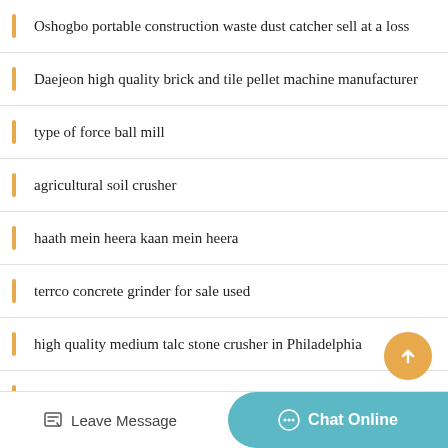Oshogbo portable construction waste dust catcher sell at a loss
Daejeon high quality brick and tile pellet machine manufacturer
type of force ball mill
agricultural soil crusher
haath mein heera kaan mein heera
terrco concrete grinder for sale used
high quality medium talc stone crusher in Philadelphia
rock crushing equipment in indonesia